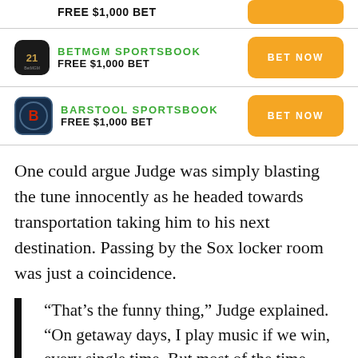FREE $1,000 BET
[Figure (logo): BetMGM Sportsbook logo — dark square with gold lion icon]
BETMGM SPORTSBOOK
FREE $1,000 BET
BET NOW
[Figure (logo): Barstool Sportsbook logo — dark blue circle with red B]
BARSTOOL SPORTSBOOK
FREE $1,000 BET
BET NOW
One could argue Judge was simply blasting the tune innocently as he headed towards transportation taking him to his next destination. Passing by the Sox locker room was just a coincidence.
“That’s the funny thing,” Judge explained. “On getaway days, I play music if we win, every single time. But most of the time,